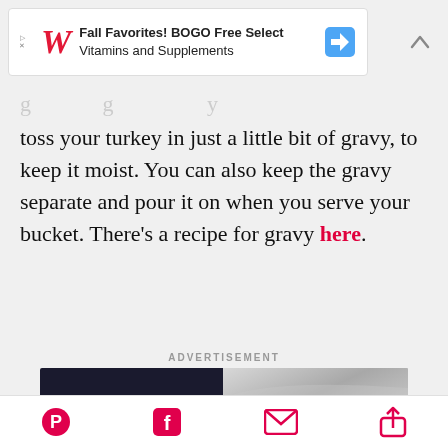[Figure (screenshot): Walgreens advertisement banner: Fall Favorites! BOGO Free Select Vitamins and Supplements]
toss your turkey in just a little bit of gravy, to keep it moist. You can also keep the gravy separate and pour it on when you serve your bucket. There's a recipe for gravy here.
ADVERTISEMENT
[Figure (screenshot): Ooni pizza oven advertisement: Make dinner IN SIXTY SECONDS. Make.]
Pinterest, Facebook, Email, Share icons